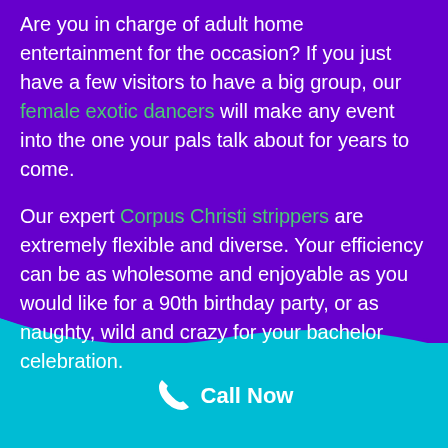Are you in charge of adult home entertainment for the occasion? If you just have a few visitors to have a big group, our female exotic dancers will make any event into the one your pals talk about for years to come.
Our expert Corpus Christi strippers are extremely flexible and diverse. Your efficiency can be as wholesome and enjoyable as you would like for a 90th birthday party, or as naughty, wild and crazy for your bachelor celebration.
Call Now